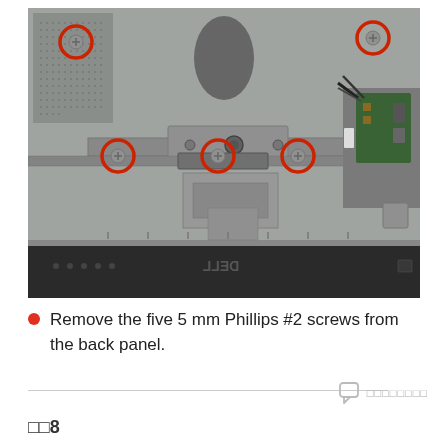[Figure (photo): Back panel of a Dell monitor showing five Phillips #2 screws highlighted with red circles. The monitor's back panel is grey/silver and shows internal components including a bracket, connectors, and cables. The front bezel of the Dell monitor is visible at the bottom of the image (black with Dell logo).]
Remove the five 5 mm Phillips #2 screws from the back panel.
□□8